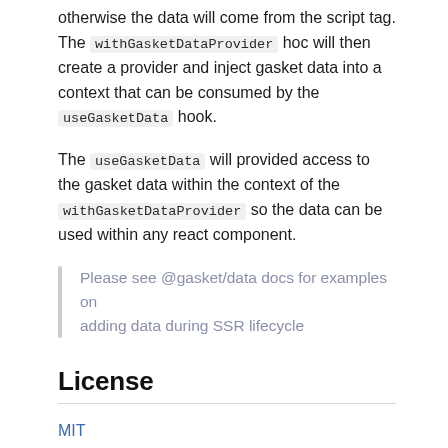otherwise the data will come from the script tag. The withGasketDataProvider hoc will then create a provider and inject gasket data into a context that can be consumed by the useGasketData hook.
The useGasketData will provided access to the gasket data within the context of the withGasketDataProvider so the data can be used within any react component.
Please see @gasket/data docs for examples on adding data during SSR lifecycle
License
MIT
DETAILS